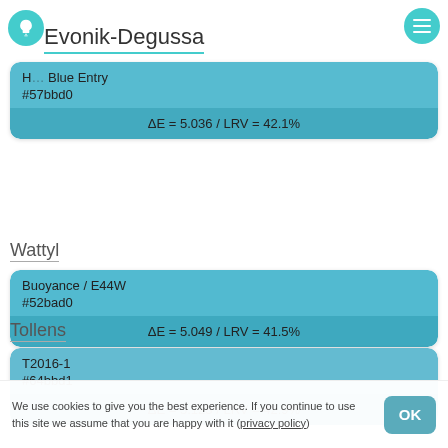Evonik-Degussa
Evonik-Degussa
H… Blue Entry
#57bbd0
ΔE = 5.036 / LRV = 42.1%
Wattyl
Buoyance / E44W
#52bad0
ΔE = 5.049 / LRV = 41.5%
Tollens
T2016-1
#64bbd1
ΔE = 5.123 / LRV = 42.9%
We use cookies to give you the best experience. If you continue to use this site we assume that you are happy with it (privacy policy)